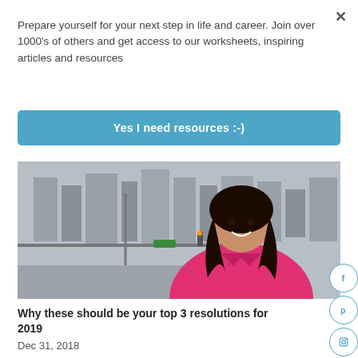Prepare yourself for your next step in life and career. Join over 1000's of others and get access to our worksheets, inspiring articles and resources
Yes I need resources :-)
[Figure (photo): A smiling woman in a pink blazer sitting in front of a large window with a city skyline in the background.]
Why these should be your top 3 resolutions for 2019
Dec 31, 2018